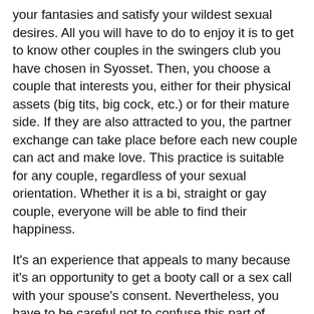your fantasies and satisfy your wildest sexual desires. All you will have to do to enjoy it is to get to know other couples in the swingers club you have chosen in Syosset. Then, you choose a couple that interests you, either for their physical assets (big tits, big cock, etc.) or for their mature side. If they are also attracted to you, the partner exchange can take place before each new couple can act and make love. This practice is suitable for any couple, regardless of your sexual orientation. Whether it is a bi, straight or gay couple, everyone will be able to find their happiness.
It's an experience that appeals to many because it's an opportunity to get a booty call or a sex call with your spouse's consent. Nevertheless, you have to be careful not to confuse this part of fucking in Syosset, NY with more intimate feelings, because to experience swinging in a couple you have to be able to see sex and love as two completely separate things. If you don't feel able to do this, then you should avoid having sex with the first couple that comes along, at the risk of harming your relationship. If, on the other hand, you are totally comfortable with the concept, you can meet the couple you choose outside the